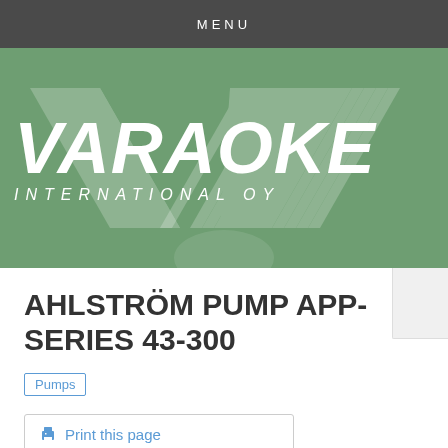MENU
[Figure (logo): Varaoke International Oy logo on green background with decorative chevron stripe watermark]
AHLSTRÖM PUMP APP-SERIES 43-300
Pumps
Print this page